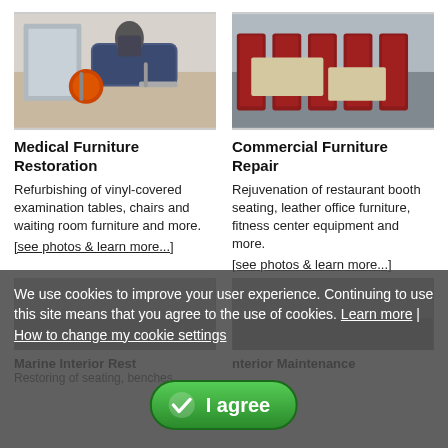[Figure (photo): Dental/medical examination room with blue exam chair and orange stool]
[Figure (photo): Restaurant booth seating with red vinyl booths and tables]
Medical Furniture Restoration
Refurbishing of vinyl-covered examination tables, chairs and waiting room furniture and more.
[see photos & learn more...]
Commercial Furniture Repair
Rejuvenation of restaurant booth seating, leather office furniture, fitness center equipment and more.
[see photos & learn more...]
We use cookies to improve your user experience. Continuing to use this site means that you agree to the use of cookies. Learn more | How to change my cookie settings
[Figure (photo): Partially visible photo behind cookie banner (left column)]
[Figure (photo): Partially visible photo behind cookie banner (right column)]
Marine Interior Rest
Restoring of seating, benches
nterior Maintenance